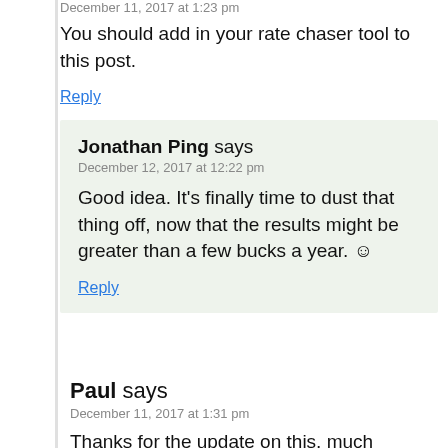December 11, 2017 at 1:23 pm
You should add in your rate chaser tool to this post.
Reply
Jonathan Ping says
December 12, 2017 at 12:22 pm
Good idea. It's finally time to dust that thing off, now that the results might be greater than a few bucks a year. ☺
Reply
Paul says
December 11, 2017 at 1:31 pm
Thanks for the update on this, much